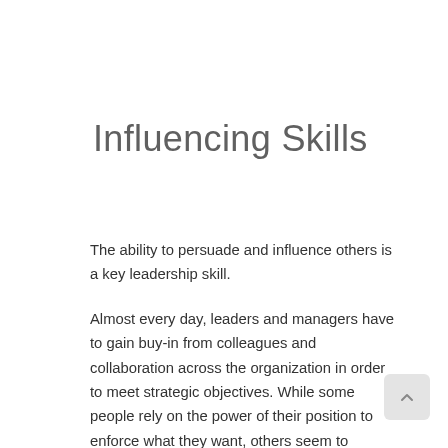Influencing Skills
The ability to persuade and influence others is a key leadership skill.
Almost every day, leaders and managers have to gain buy-in from colleagues and collaboration across the organization in order to meet strategic objectives. While some people rely on the power of their position to enforce what they want, others seem to achieve their goals seemingly